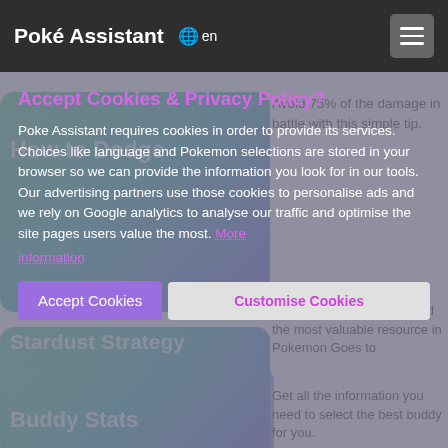Poké Assistant  🌐 en
Avoid 75% of the damage in battle with this simple tip.
How to Dodge
Plan how to earn and spend the most valuable resource in Pokemon Goes to
Stardust Strategy
Get all the information you need to select the best buddy for you.
Buddy Stats
Accept Cookies & Privacy Policy?
Poke Assistant requires cookies in order to provide its services. Choices like language and Pokemon selections are stored in your browser so we can provide the information you look for in our tools. Our advertising partners use those cookies to personalise ads and we rely on Google analytics to analyse our traffic and optimise the site pages users value the most. More information
More information
Accept Cookies
Customise Cookies